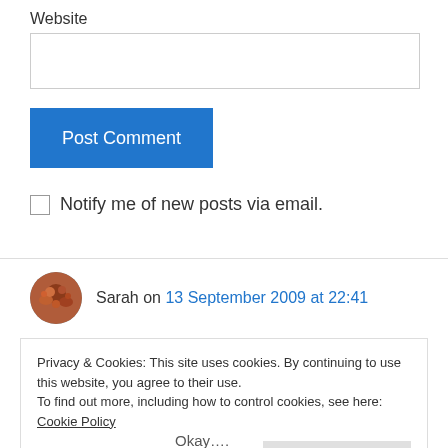Website
Post Comment
Notify me of new posts via email.
Sarah on 13 September 2009 at 22:41
Privacy & Cookies: This site uses cookies. By continuing to use this website, you agree to their use.
To find out more, including how to control cookies, see here: Cookie Policy
Close and accept
Okay....